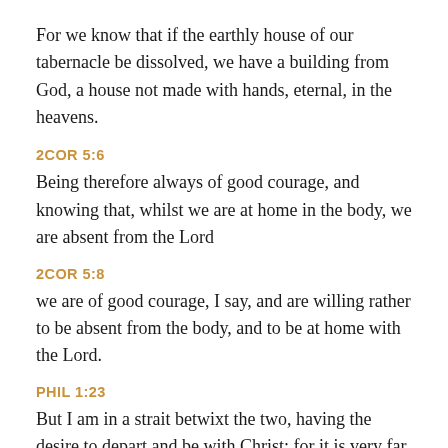For we know that if the earthly house of our tabernacle be dissolved, we have a building from God, a house not made with hands, eternal, in the heavens.
2COR 5:6
Being therefore always of good courage, and knowing that, whilst we are at home in the body, we are absent from the Lord
2COR 5:8
we are of good courage, I say, and are willing rather to be absent from the body, and to be at home with the Lord.
PHIL 1:23
But I am in a strait betwixt the two, having the desire to depart and be with Christ; for it is very far better: